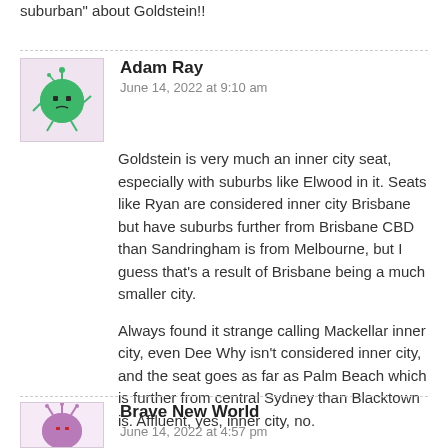suburban" about Goldstein!!
Goldstein is very much an inner city seat, especially with suburbs like Elwood in it. Seats like Ryan are considered inner city Brisbane but have suburbs further from Brisbane CBD than Sandringham is from Melbourne, but I guess that's a result of Brisbane being a much smaller city.

Always found it strange calling Mackellar inner city, even Dee Why isn't considered inner city, and the seat goes as far as Palm Beach which is further from central Sydney than Blacktown is. Affluent, yes, inner city, no.
Adam Ray
June 14, 2022 at 9:10 am
Brave New World
June 14, 2022 at 4:57 pm